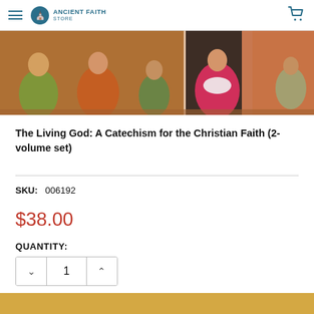Ancient Faith Store
[Figure (photo): Cropped product image showing two panels of medieval-style religious icons with figures in orange, gold, red, and green robes on decorative backgrounds.]
The Living God: A Catechism for the Christian Faith (2-volume set)
SKU:  006192
$38.00
QUANTITY:
1